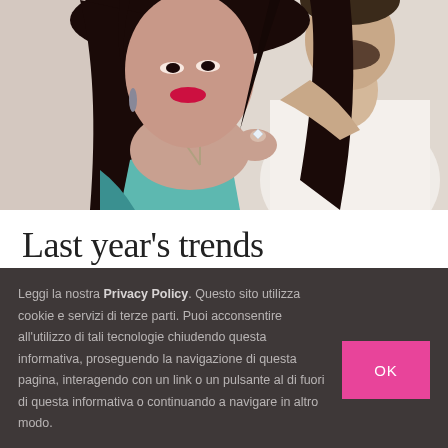[Figure (photo): Fashion photo of a woman with dark hair, bright red lips, wearing a necklace and teal outfit, with a man in white shirt behind her]
Last year's trends
Leggi la nostra Privacy Policy. Questo sito utilizza cookie e servizi di terze parti. Puoi acconsentire all'utilizzo di tali tecnologie chiudendo questa informativa, proseguendo la navigazione di questa pagina, interagendo con un link o un pulsante al di fuori di questa informativa o continuando a navigare in altro modo.